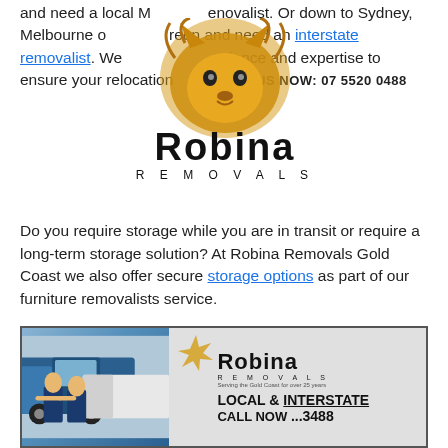and need a local Mermaid removalist. Or down to Sydney, Melbourne or anywhere in between and need an interstate removalist. We have the experience and expertise to ensure your relocation goes smoothly.
[Figure (logo): Robina Removals logo with lion head graphic, brand name 'Robina' in large bold text, 'REMOVALS' in spaced caps below, and 'CALL US NOW: 07 5520 0488' call-to-action banner]
Do you require storage while you are in transit or require a long-term storage solution? At Robina Removals Gold Coast we also offer secure storage options as part of our furniture removalists service.
Finally, you can feel secure knowing that our removals company has the accreditation's, insurances and over three decades of industry know how.
[Figure (photo): Photo of two Robina Removals staff members standing in front of a blue truck and a van with the Robina Removals branding showing 'LOCAL & INTERSTATE' and phone number 3488]